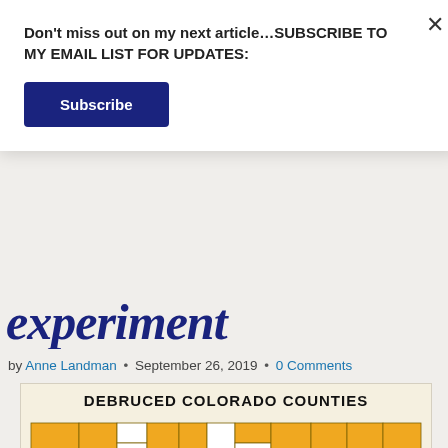Don't miss out on my next article…SUBSCRIBE TO MY EMAIL LIST FOR UPDATES:
Subscribe
experiment
by Anne Landman • September 26, 2019 • 0 Comments
[Figure (map): Map of Debruced Colorado Counties shown in orange/gold highlighting on a Colorado county map. Title: DEBRUCED COLORADO COUNTIES]